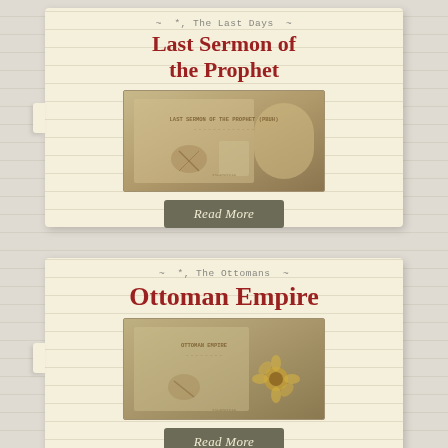~ *, The Last Days ~
Last Sermon of the Prophet
[Figure (illustration): Aged parchment scroll illustration with text 'LAST SERMON OF THE PROPHET (PBUH)' and decorative quill/scroll imagery]
Read More
~ *, The Ottomans ~
Ottoman Empire
[Figure (illustration): Aged parchment illustration with text 'OTTOMAN EMPIRE' and decorative floral/sunflower imagery]
Read More